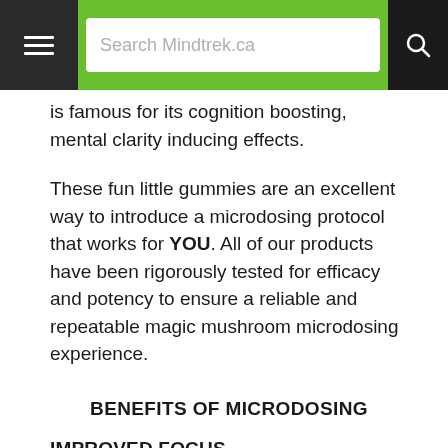Search Mindtrek.ca
is famous for its cognition boosting, mental clarity inducing effects.
These fun little gummies are an excellent way to introduce a microdosing protocol that works for YOU. All of our products have been rigorously tested for efficacy and potency to ensure a reliable and repeatable magic mushroom microdosing experience.
BENEFITS OF MICRODOSING
IMPROVED FOCUS